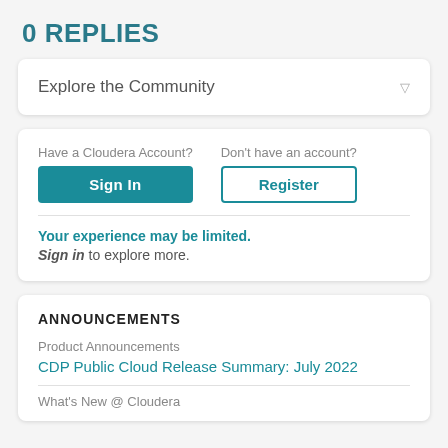0 REPLIES
Explore the Community
Have a Cloudera Account? Don't have an account? Sign In Register
Your experience may be limited. Sign in to explore more.
ANNOUNCEMENTS
Product Announcements
CDP Public Cloud Release Summary: July 2022
What's New @ Cloudera